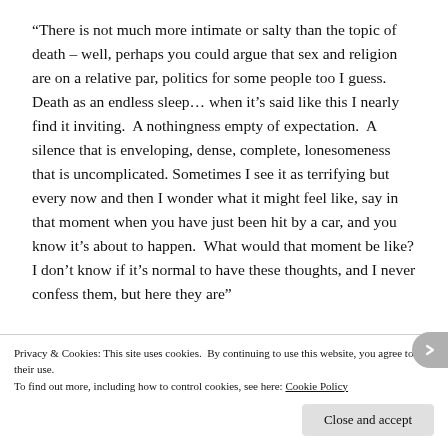“There is not much more intimate or salty than the topic of death – well, perhaps you could argue that sex and religion are on a relative par, politics for some people too I guess.  Death as an endless sleep… when it’s said like this I nearly find it inviting.  A nothingness empty of expectation.  A silence that is enveloping, dense, complete, lonesomeness that is uncomplicated. Sometimes I see it as terrifying but every now and then I wonder what it might feel like, say in that moment when you have just been hit by a car, and you know it’s about to happen.  What would that moment be like? I don’t know if it’s normal to have these thoughts, and I never confess them, but here they are”
Privacy & Cookies: This site uses cookies.  By continuing to use this website, you agree to their use.
To find out more, including how to control cookies, see here: Cookie Policy
Close and accept